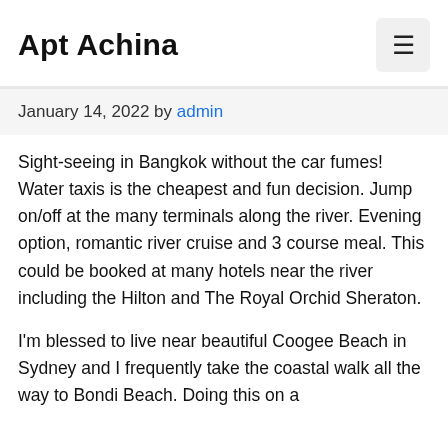Apt Achina
January 14, 2022 by admin
Sight-seeing in Bangkok without the car fumes! Water taxis is the cheapest and fun decision. Jump on/off at the many terminals along the river. Evening option, romantic river cruise and 3 course meal. This could be booked at many hotels near the river including the Hilton and The Royal Orchid Sheraton.
I'm blessed to live near beautiful Coogee Beach in Sydney and I frequently take the coastal walk all the way to Bondi Beach. Doing this on a…